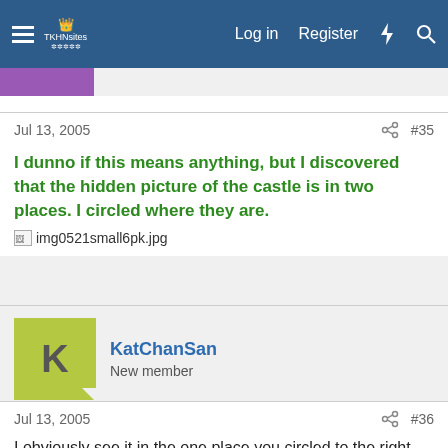Log in  Register
Jul 13, 2005   #35
I dunno if this means anything, but I discovered that the hidden picture of the castle is in two places. I circled where they are.
img0521small6pk.jpg
KatChanSan
New member
Jul 13, 2005   #36
I obviously see it in the one place you circled to the right, but not at the left..

Personally, I think it's Hallow Bastion, or a new secret castle they havn't told us about..
It's NOT one that's in the game, they all display the whole title...